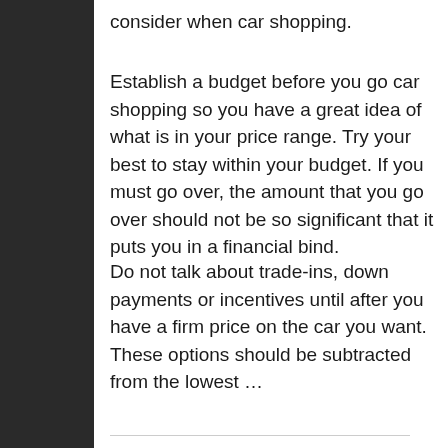consider when car shopping.
Establish a budget before you go car shopping so you have a great idea of what is in your price range. Try your best to stay within your budget. If you must go over, the amount that you go over should not be so significant that it puts you in a financial bind.
Do not talk about trade-ins, down payments or incentives until after you have a firm price on the car you want. These options should be subtracted from the lowest …